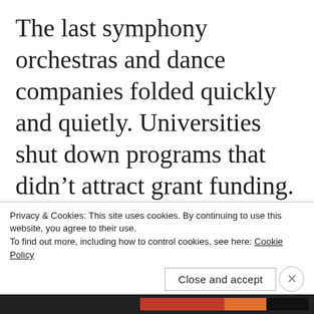The last symphony orchestras and dance companies folded quickly and quietly. Universities shut down programs that didn’t attract grant funding. Since most jobs had already been sent abroad, there wasn’t much for most young people to do. Almost half of the people under thirty—were in drug treatment or
Privacy & Cookies: This site uses cookies. By continuing to use this website, you agree to their use.
To find out more, including how to control cookies, see here: Cookie Policy
Close and accept